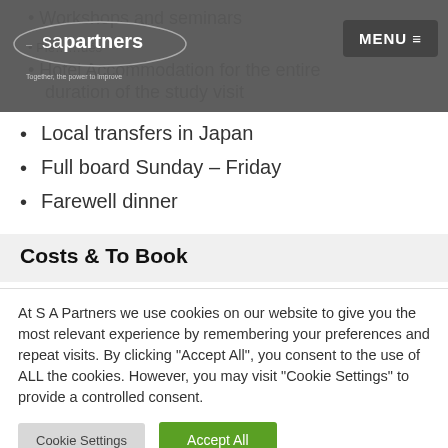[Figure (logo): SA Partners logo with oval shape and tagline 'Together, the power to improve']
Workshops and seminars
Hotel Accommodation for the entire duration of the study visit
Local transfers in Japan
Full board Sunday – Friday
Farewell dinner
Costs & To Book
At S A Partners we use cookies on our website to give you the most relevant experience by remembering your preferences and repeat visits. By clicking "Accept All", you consent to the use of ALL the cookies. However, you may visit "Cookie Settings" to provide a controlled consent.